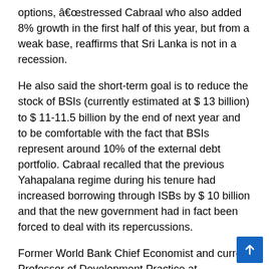options, â€œstressed Cabraal who also added 8% growth in the first half of this year, but from a weak base, reaffirms that Sri Lanka is not in a recession.
He also said the short-term goal is to reduce the stock of BSIs (currently estimated at $ 13 billion) to $ 11-11.5 billion by the end of next year and to be comfortable with the fact that BSIs represent around 10% of the external debt portfolio. Cabraal recalled that the previous Yahapalana regime during his tenure had increased borrowing through ISBs by $ 10 billion and that the new government had in fact been forced to deal with its repercussions.
Former World Bank Chief Economist and current Professor of Development Practice at Georgetown University in the United States. Professor Shanta Devarajan, speaking from the United States, was among several webinar experts who highlighted the need for Sri Lanka to adopt its own debt restructuring program for the IMF.